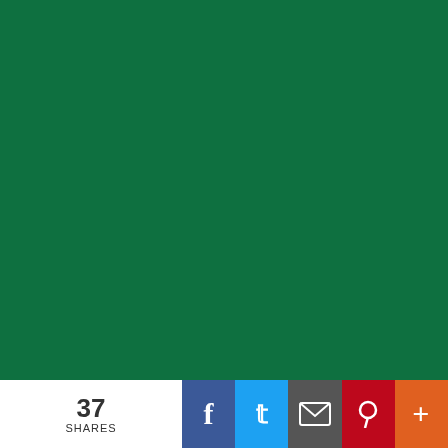[Figure (photo): Large green rectangular block occupying the left portion of the page]
12. Cf. Galec...
13. Newman, ... and co., 1...
14. Cf. Galec...
15. Cf. Galec...
16. Newman, ...
17. Gerard M... Imaginatio...
18. Magill, Re...
19. Newman, ...
20. Newman, ...
21. Cf. Eberh... Orientieru...
22. Newman, ...
23. Cf. Micha... Newman,...
37 SHARES | Facebook | Twitter | Email | Pinterest | More